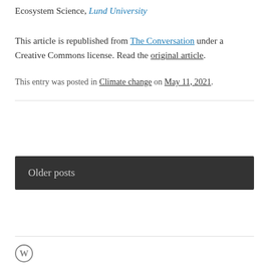Senior Research Scientist, Physical Geography and Ecosystem Science, Lund University
This article is republished from The Conversation under a Creative Commons license. Read the original article.
This entry was posted in Climate change on May 11, 2021.
Older posts
[Figure (logo): WordPress logo icon]